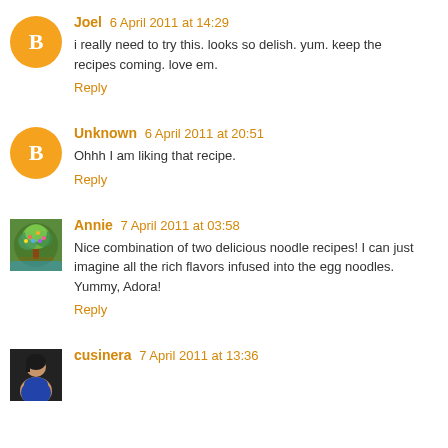Joel 6 April 2011 at 14:29 — i really need to try this. looks so delish. yum. keep the recipes coming. love em. Reply
Unknown 6 April 2011 at 20:51 — Ohhh I am liking that recipe. Reply
Annie 7 April 2011 at 03:58 — Nice combination of two delicious noodle recipes! I can just imagine all the rich flavors infused into the egg noodles. Yummy, Adora! Reply
cusinera 7 April 2011 at 13:36